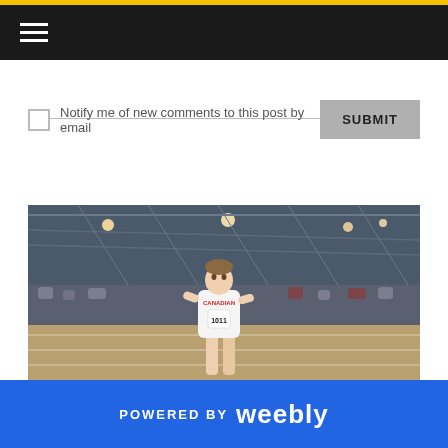Navigation bar with hamburger menu
Notify me of new comments to this post by email
SUBMIT
[Figure (photo): Indoor athletics track athlete wearing a white jersey with 'CANADIAN' text and bib number 1011, competing in an indoor arena with steel truss roof structure and spectators in background]
POWERED BY weebly